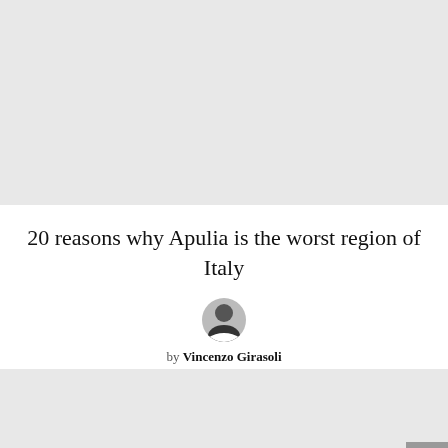[Figure (photo): Large placeholder image area, light gray background, top of page]
20 reasons why Apulia is the worst region of Italy
[Figure (photo): Small circular avatar photo of a man in a suit, author portrait]
by Vincenzo Girasoli
[Figure (photo): Partial gray placeholder image at bottom of page with scroll-to-top button]